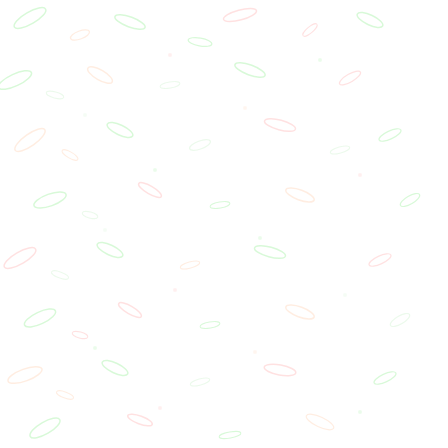ITALIAN LAGREIN
ARGENTINEAN M
SOUTHERN HEMI
MOSTLY 2004 CA
CRU BEAUJOLAI
A VINO FINO CHR
CALIFORNIA ZINF
PINOT NOIRS of V
WORLD OF SYRA
AUSSIE CABERN
ALEXANDER VAL (Australia) CABER
CALIFORNIA PET
2004 NORTH COA